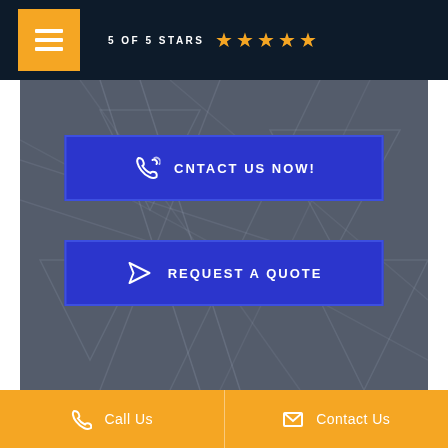5 OF 5 STARS ★★★★★
[Figure (screenshot): Dark geometric patterned background section with two blue CTA buttons: 'CNTACT US NOW!' with phone icon and 'REQUEST A QUOTE' with arrow icon]
CNTACT US NOW!
REQUEST A QUOTE
[Figure (infographic): Blue bar section]
Call Us   Contact Us